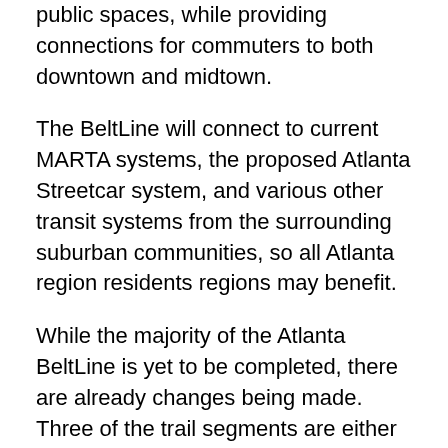public spaces, while providing connections for commuters to both downtown and midtown.
The BeltLine will connect to current MARTA systems, the proposed Atlanta Streetcar system, and various other transit systems from the surrounding suburban communities, so all Atlanta region residents regions may benefit.
While the majority of the Atlanta BeltLine is yet to be completed, there are already changes being made. Three of the trail segments are either open or close to being completed, as well as four either new or renovated parks, including D.H. Stanton, Atlanta’s first energy-cost neutral park. D.H. Stanton is home to a shade structure for park visitors that also features photovoltaic solar panels that generate energy and provide revenue.
The project doesn’t stop at transportation. The Atlanta